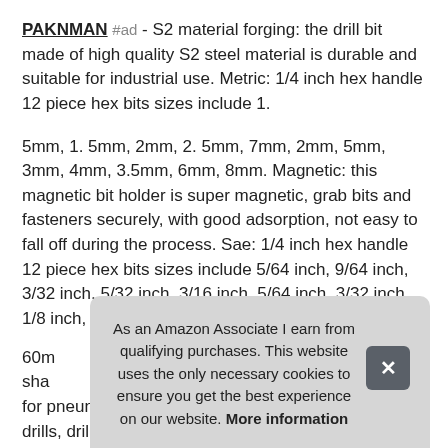PAKNMAN #ad - S2 material forging: the drill bit made of high quality S2 steel material is durable and suitable for industrial use. Metric: 1/4 inch hex handle 12 piece hex bits sizes include 1.
5mm, 1. 5mm, 2mm, 2. 5mm, 7mm, 2mm, 5mm, 3mm, 4mm, 3.5mm, 6mm, 8mm. Magnetic: this magnetic bit holder is super magnetic, grab bits and fasteners securely, with good adsorption, not easy to fall off during the process. Sae: 1/4 inch hex handle 12 piece hex bits sizes include 5/64 inch, 9/64 inch, 3/32 inch, 5/32 inch, 3/16 inch, 5/64 inch, 3/32 inch, 1/8 inch, 7/32 inch, 1/4 inch, 7/64 inch, 5/16 inch.6
60m sha for pneumatic screwdrivers, pneumatic drill, pistol drills, drill
As an Amazon Associate I earn from qualifying purchases. This website uses the only necessary cookies to ensure you get the best experience on our website. More information